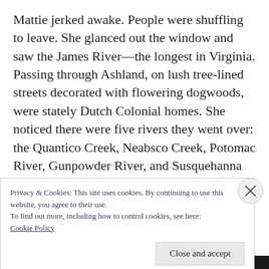Mattie jerked awake. People were shuffling to leave. She glanced out the window and saw the James River—the longest in Virginia. Passing through Ashland, on lush tree-lined streets decorated with flowering dogwoods, were stately Dutch Colonial homes. She noticed there were five rivers they went over: the Quantico Creek, Neabsco Creek, Potomac River, Gunpowder River, and Susquehanna River. Further along, Washington D.C. had many skyscrapers of glass reflecting other skyscrapers. Wilmington had a building with a
Privacy & Cookies: This site uses cookies. By continuing to use this website, you agree to their use.
To find out more, including how to control cookies, see here:
Cookie Policy
Close and accept